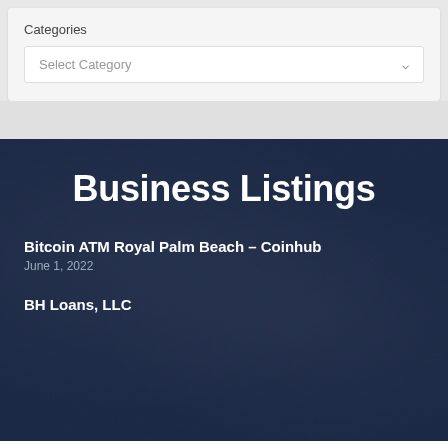Categories
Select Category
Business Listings
Bitcoin ATM Royal Palm Beach – Coinhub
June 1, 2022
BH Loans, LLC